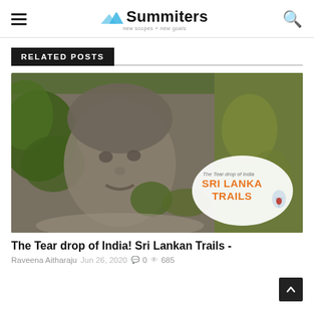Summiters — new scopes + new goals
RELATED POSTS
[Figure (photo): Stone face sculpture with greenery in background, overlaid with Sri Lanka Trails badge — The Tear drop of India, SRI LANKA TRAILS]
The Tear drop of India! Sri Lankan Trails -
Raveena Aitharaju  Jun 26, 2020  0  685